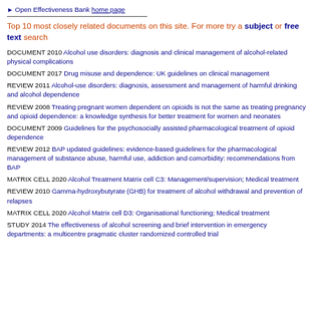▶ Open Effectiveness Bank home page
Top 10 most closely related documents on this site. For more try a subject or free text search
DOCUMENT 2010 Alcohol use disorders: diagnosis and clinical management of alcohol-related physical complications
DOCUMENT 2017 Drug misuse and dependence: UK guidelines on clinical management
REVIEW 2011 Alcohol-use disorders: diagnosis, assessment and management of harmful drinking and alcohol dependence
REVIEW 2008 Treating pregnant women dependent on opioids is not the same as treating pregnancy and opioid dependence: a knowledge synthesis for better treatment for women and neonates
DOCUMENT 2009 Guidelines for the psychosocially assisted pharmacological treatment of opioid dependence
REVIEW 2012 BAP updated guidelines: evidence-based guidelines for the pharmacological management of substance abuse, harmful use, addiction and comorbidity: recommendations from BAP
MATRIX CELL 2020 Alcohol Treatment Matrix cell C3: Management/supervision; Medical treatment
REVIEW 2010 Gamma-hydroxybutyrate (GHB) for treatment of alcohol withdrawal and prevention of relapses
MATRIX CELL 2020 Alcohol Matrix cell D3: Organisational functioning; Medical treatment
STUDY 2014 The effectiveness of alcohol screening and brief intervention in emergency departments: a multicentre pragmatic cluster randomized controlled trial